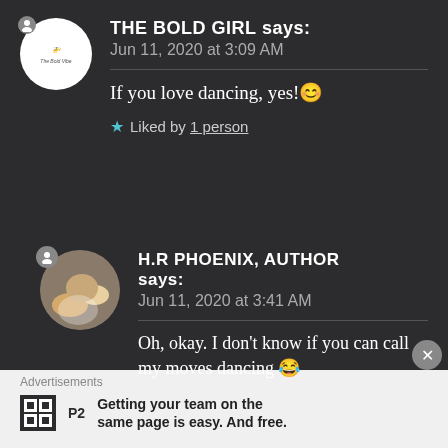THE BOLD GIRL says: Jun 11, 2020 at 3:09 AM
If you love dancing, yes! 😊
★ Liked by 1 person
H.R PHOENIX, AUTHOR says: Jun 11, 2020 at 3:41 AM
Oh, okay. I don't know if you can call my moves dancing 😂
Advertisements
Getting your team on the same page is easy. And free.